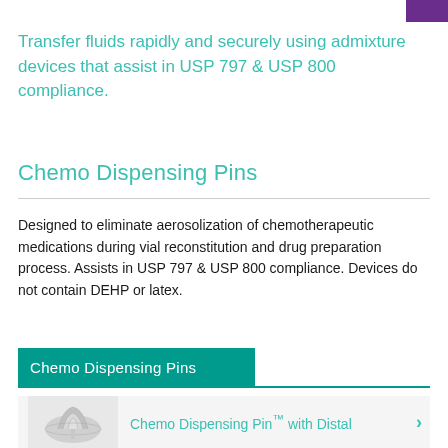Transfer fluids rapidly and securely using admixture devices that assist in USP 797 & USP 800 compliance.
Chemo Dispensing Pins
Designed to eliminate aerosolization of chemotherapeutic medications during vial reconstitution and drug preparation process. Assists in USP 797 & USP 800 compliance. Devices do not contain DEHP or latex.
Chemo Dispensing Pins
Chemo Dispensing Pin™ with Distal